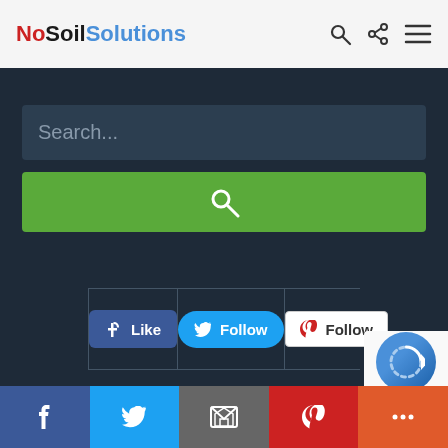NoSoilSolutions
Search...
[Figure (screenshot): Green search button with magnifying glass icon]
[Figure (screenshot): Social media buttons: Facebook Like, Twitter Follow, Pinterest Follow]
[Figure (screenshot): reCAPTCHA widget in bottom-right corner]
Facebook | Twitter | Email | Pinterest | More